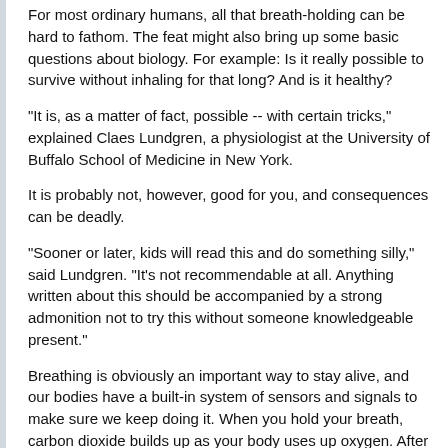For most ordinary humans, all that breath-holding can be hard to fathom. The feat might also bring up some basic questions about biology. For example: Is it really possible to survive without inhaling for that long? And is it healthy?
"It is, as a matter of fact, possible -- with certain tricks," explained Claes Lundgren, a physiologist at the University of Buffalo School of Medicine in New York.
It is probably not, however, good for you, and consequences can be deadly.
"Sooner or later, kids will read this and do something silly," said Lundgren. "It's not recommendable at all. Anything written about this should be accompanied by a strong admonition not to try this without someone knowledgeable present."
Breathing is obviously an important way to stay alive, and our bodies have a built-in system of sensors and signals to make sure we keep doing it. When you hold your breath, carbon dioxide builds up as your body uses up oxygen. After a minute or two for most people, the result is an overwhelming urge to breathe.
"All sorts of alarms go off," said Ralph Potkin a pulmonologist and hyperbaric physician at the University of California, Los Angles School of Medicine. "The brain tells the body to breathe. The diaphragm gets electrical signals to stimulate breathing."
To fight those powerful instincts, a competitive breath-holder starts by hyperventilating for as much as 10 minutes while breathing from a tank of 100 percent oxygen. Breathing hard and fast supply